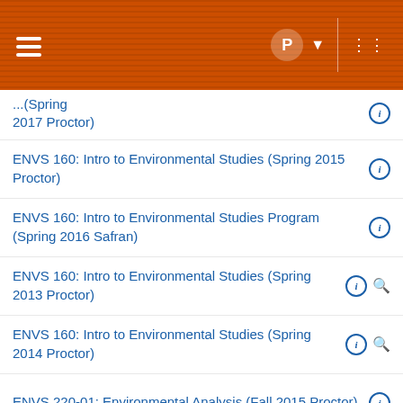Navigation header with hamburger menu and icons
(Spring 2017 Proctor)
ENVS 160: Intro to Environmental Studies (Spring 2015 Proctor)
ENVS 160: Intro to Environmental Studies Program (Spring 2016 Safran)
ENVS 160: Intro to Environmental Studies (Spring 2013 Proctor)
ENVS 160: Intro to Environmental Studies (Spring 2014 Proctor)
ENVS 220-01: Environmental Analysis (Fall 2015 Proctor)
ENVS 220-01: Environmental Analysis (Fall 2016 Kleiss)
ENVS 220-01: Environmental Analysis (Fall 2014 Proctor)
ENVS 220: Environmental Analysis (Fall 2013 Proctor)